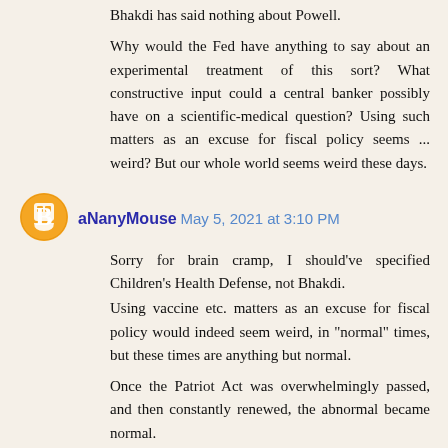Bhakdi has said nothing about Powell.
Why would the Fed have anything to say about an experimental treatment of this sort? What constructive input could a central banker possibly have on a scientific-medical question? Using such matters as an excuse for fiscal policy seems ... weird? But our whole world seems weird these days.
aNanyMouse May 5, 2021 at 3:10 PM
Sorry for brain cramp, I should've specified Children's Health Defense, not Bhakdi.
Using vaccine etc. matters as an excuse for fiscal policy would indeed seem weird, in "normal" times, but these times are anything but normal.
Once the Patriot Act was overwhelmingly passed, and then constantly renewed, the abnormal became normal.
They don't call the WaPo "Pravda on the Potomac" for nothing.